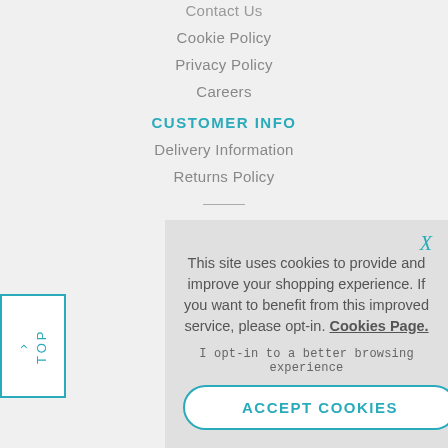Contact Us
Cookie Policy
Privacy Policy
Careers
CUSTOMER INFO
Delivery Information
Returns Policy
This site uses cookies to provide and improve your shopping experience. If you want to benefit from this improved service, please opt-in. Cookies Page.
I opt-in to a better browsing experience
ACCEPT COOKIES
TOP
Honda Powered